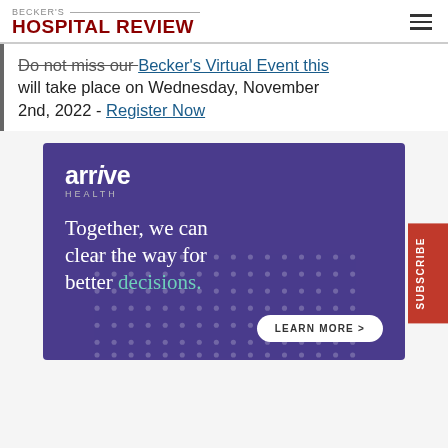BECKER'S HOSPITAL REVIEW
Do not miss our Becker's Virtual Event this will take place on Wednesday, November 2nd, 2022 - Register Now
[Figure (illustration): Arrive Health advertisement banner with purple background. Shows 'arrive HEALTH' logo, tagline 'Together, we can clear the way for better decisions.' with 'decisions' in teal, and a 'LEARN MORE >' button. Dot pattern decorates the lower portion.]
SUBSCRIBE